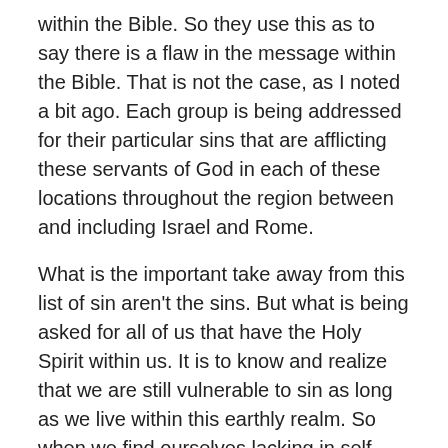within the Bible. So they use this as to say there is a flaw in the message within the Bible. That is not the case, as I noted a bit ago. Each group is being addressed for their particular sins that are afflicting these servants of God in each of these locations throughout the region between and including Israel and Rome.
What is the important take away from this list of sin aren't the sins. But what is being asked for all of us that have the Holy Spirit within us. It is to know and realize that we are still vulnerable to sin as long as we live within this earthly realm. So when we find ourselves lacking in self-control and stumble over sins like those listed here and elsewhere in the Bible. Is that we strive to note that we are slipping and do our best with the help of God through prayer that we stop indulging in any and all things that are considered sinful in the eyes of God.